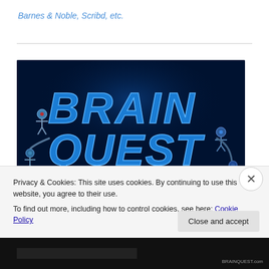Barnes & Noble, Scribd, etc.
[Figure (illustration): Book cover for 'Brain Quest: A Fantastic Voyage Through the Progressive Mind' showing large blue metallic text on a dark navy background with robotic/mechanical figures and a glowing blue brain at the bottom]
Privacy & Cookies: This site uses cookies. By continuing to use this website, you agree to their use.
To find out more, including how to control cookies, see here: Cookie Policy